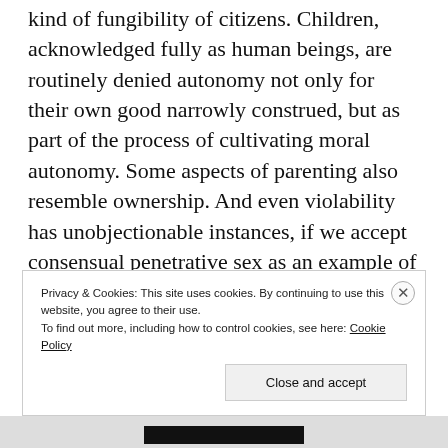kind of fungibility of citizens. Children, acknowledged fully as human beings, are routinely denied autonomy not only for their own good narrowly construed, but as part of the process of cultivating moral autonomy. Some aspects of parenting also resemble ownership. And even violability has unobjectionable instances, if we accept consensual penetrative sex as an example of such.
Privacy & Cookies: This site uses cookies. By continuing to use this website, you agree to their use. To find out more, including how to control cookies, see here: Cookie Policy